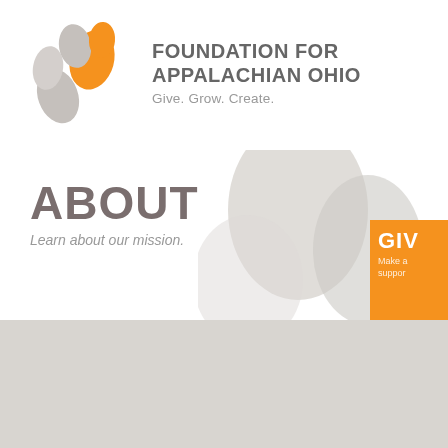[Figure (logo): Foundation for Appalachian Ohio logo with leaf/droplet shapes in gray and orange, with organization name and tagline 'Give. Grow. Create.']
ABOUT
Learn about our mission.
CREATE
A TAILORED APPROACH
I'M A CHILD OF APPALACHIA® NETWORK
NEWS & HAPPENINGS
News &
Feb 21 2019